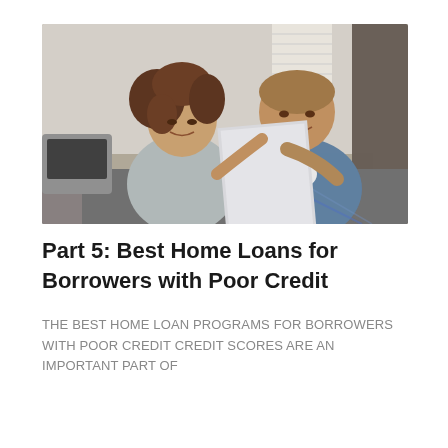[Figure (photo): A couple sitting on a sofa looking at a document together, smiling. The woman has curly hair and is wearing a grey top; the man is wearing a plaid shirt. There is a laptop visible on the left side.]
Part 5: Best Home Loans for Borrowers with Poor Credit
THE BEST HOME LOAN PROGRAMS FOR BORROWERS WITH POOR CREDIT Credit scores are an important part of